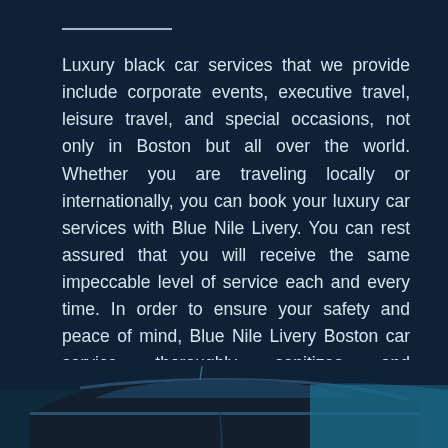Luxury black car services that we provide include corporate events, executive travel, leisure travel, and special occasions, not only in Boston but all over the world. Whether you are traveling locally or internationally, you can book your luxury car services with Blue Nile Livery. You can rest assured that you will receive the same impeccable level of service each and every time. In order to ensure your safety and peace of mind, Blue Nile Livery Boston car service thoroughly sanitizes and meticulously maintains all vehicles.
[Figure (photo): Partial view of a luxury black car, showing the roof and upper body, against a dark navy blue background.]